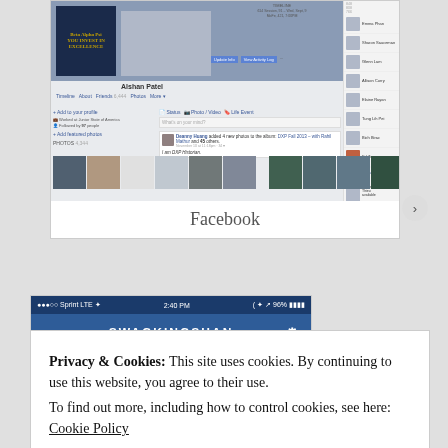[Figure (screenshot): Screenshot of a Facebook profile page for Alshan Patel, showing cover photo, profile photo, navigation tabs (Timeline, About, Friends, Photos, More), left sidebar with work/follower info and photos, main feed with a post by Deanny Huang adding photos to album DXP Fall 2013 with Rahil Mathur and 45 others, right sidebar with friend thumbnails, and a photo strip at the bottom.]
Facebook
[Figure (screenshot): Screenshot of a mobile app (Instagram/SWAGKINGSHAN) showing status bar with Sprint LTE, 2:40 PM, 96% battery, and app header in dark blue with username SWAGKINGSHAN and gear icon.]
Privacy & Cookies: This site uses cookies. By continuing to use this website, you agree to their use.
To find out more, including how to control cookies, see here: Cookie Policy
Close and accept